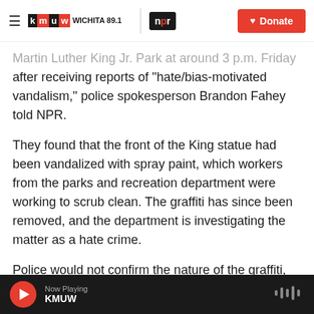KMUW Wichita 89.1 | NPR — Donate
Martin Luther King Jr. Park at around 3 p.m. Friday after receiving reports of "hate/bias-motivated vandalism," police spokesperson Brandon Fahey told NPR.
They found that the front of the King statue had been vandalized with spray paint, which workers from the parks and recreation department were working to scrub clean. The graffiti has since been removed, and the department is investigating the matter as a hate crime.
Police would not confirm the nature of the graffiti, citing an ongoing investigation, but photos on social
Now Playing KMUW